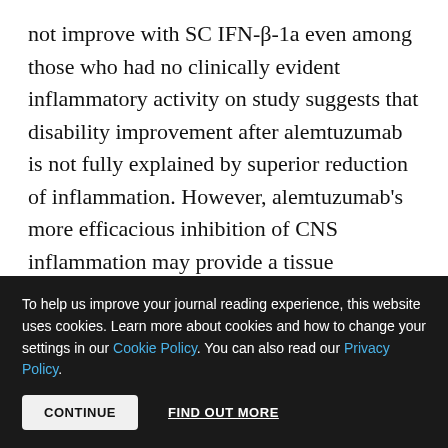not improve with SC IFN-β-1a even among those who had no clinically evident inflammatory activity on study suggests that disability improvement after alemtuzumab is not fully explained by superior reduction of inflammation. However, alemtuzumab's more efficacious inhibition of CNS inflammation may provide a tissue environment that better supports endogenous remyelination and repair mechanisms. Another possible mechanism involves neurotrophic factors secreted by CNS-trafficking immune cells, which have been
To help us improve your journal reading experience, this website uses cookies. Learn more about cookies and how to change your settings in our Cookie Policy. You can also read our Privacy Policy. [CONTINUE] [FIND OUT MORE]